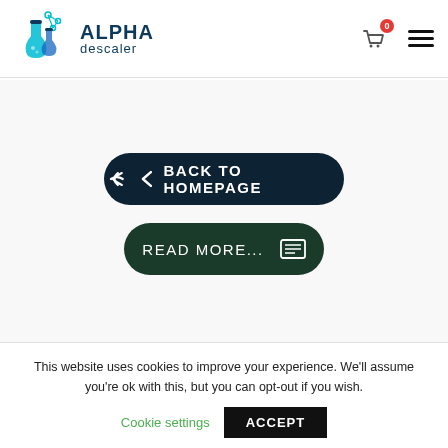[Figure (logo): Alpha Descaler logo with two lab flasks (teal/blue) and molecular structure icon, with text ALPHA descaler in dark navy]
BACK TO HOMEPAGE
READ MORE...
This website uses cookies to improve your experience. We'll assume you're ok with this, but you can opt-out if you wish.
Cookie settings
ACCEPT